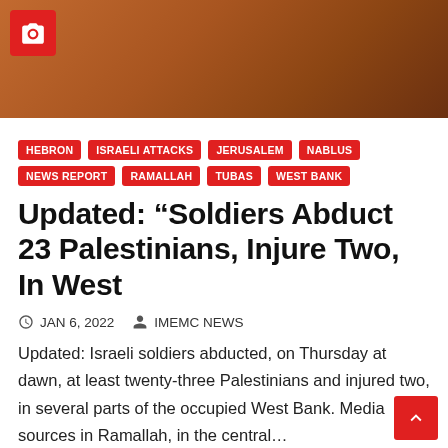[Figure (photo): Partial photograph of a reddish-brown background, with a camera icon overlay in a red box at top-left]
HEBRON
ISRAELI ATTACKS
JERUSALEM
NABLUS
NEWS REPORT
RAMALLAH
TUBAS
WEST BANK
Updated: “Soldiers Abduct 23 Palestinians, Injure Two, In West
JAN 6, 2022   IMEMC NEWS
Updated: Israeli soldiers abducted, on Thursday at dawn, at least twenty-three Palestinians and injured two, in several parts of the occupied West Bank. Media sources in Ramallah, in the central…